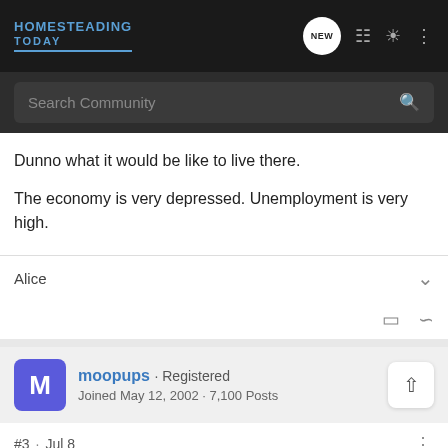HOMESTEADING TODAY — navigation bar with search
Dunno what it would be like to live there.

The economy is very depressed. Unemployment is very high.
Alice
moopups · Registered
Joined May 12, 2002 · 7,100 Posts
#3 · Jul 8
[Figure (screenshot): GroundOS advertisement banner: 'The nation's top land brokers run on GroundOS. REQUEST A DEMO']
I visited...  ...t they